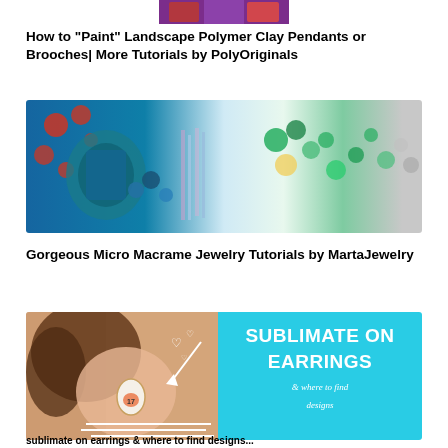[Figure (photo): Partial top of a colorful polymer clay pendant cropped at top of page]
How to "Paint" Landscape Polymer Clay Pendants or Brooches| More Tutorials by PolyOriginals
[Figure (photo): Colorful micro macrame jewelry pieces and beaded accessories spread on white background]
Gorgeous Micro Macrame Jewelry Tutorials by MartaJewelry
[Figure (photo): Left: woman wearing teardrop earring with number 17, with heart doodles and arrow. Right: cyan background with text SUBLIMATE ON EARRINGS & where to find designs]
sublimate on earrings & where to find designs (partially visible)